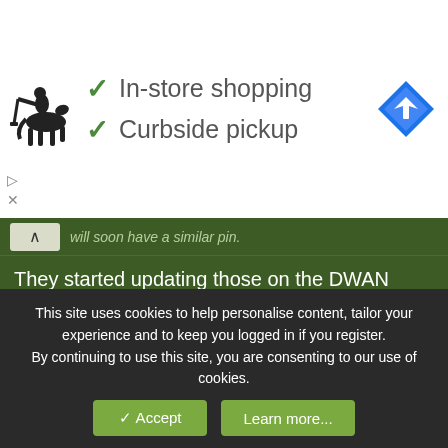[Figure (screenshot): Ad banner with Ralph Lauren polo player logo, checkmarks for 'In-store shopping' and 'Curbside pickup', and a blue Google Maps navigation icon]
will soon have a similar pin.
They started updating those on the DWAN again? I thought the last ones were from 2018 or so.
Bob Sakomano
Guest
3 Nov 2021  #56
bLUE fOX said: ↑
It's not an allowed order of dress for naval officers. from Dress
This site uses cookies to help personalise content, tailor your experience and to keep you logged in if you register.
By continuing to use this site, you are consenting to our use of cookies.